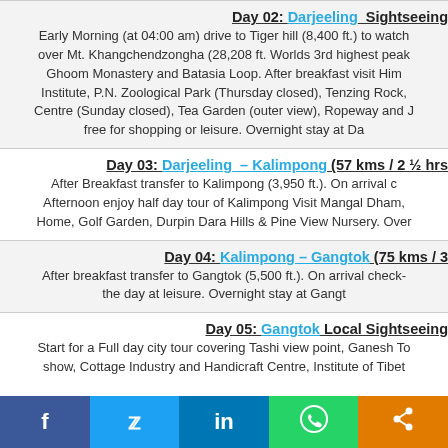Day 02: Darjeeling Sightseeing
Early Morning (at 04:00 am) drive to Tiger hill (8,400 ft.) to watch over Mt. Khangchendzongha (28,208 ft. Worlds 3rd highest peak). Ghoom Monastery and Batasia Loop. After breakfast visit Him Institute, P.N. Zoological Park (Thursday closed), Tenzing Rock, Centre (Sunday closed), Tea Garden (outer view), Ropeway and free for shopping or leisure. Overnight stay at Da
Day 03: Darjeeling – Kalimpong (57 kms / 2 ½ hrs
After Breakfast transfer to Kalimpong (3,950 ft.). On arrival c Afternoon enjoy half day tour of Kalimpong Visit Mangal Dham, Home, Golf Garden, Durpin Dara Hills & Pine View Nursery. Over
Day 04: Kalimpong – Gangtok (75 kms / 3
After breakfast transfer to Gangtok (5,500 ft.). On arrival check- the day at leisure. Overnight stay at Gangt
Day 05: Gangtok Local Sightseeing
Start for a Full day city tour covering Tashi view point, Ganesh To show, Cottage Industry and Handicraft Centre, Institute of Tibet
[Figure (infographic): Social media share bar with Facebook, Twitter, LinkedIn, WhatsApp, and Share buttons]